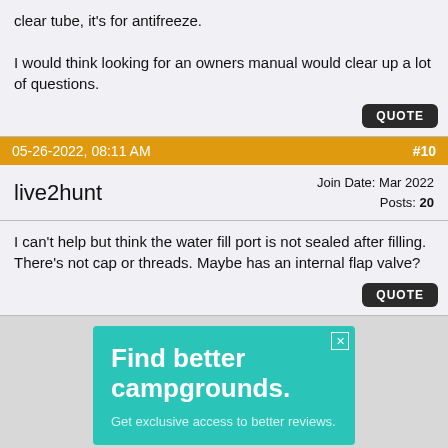clear tube, it's for antifreeze.

I would think looking for an owners manual would clear up a lot of questions.
05-26-2022, 08:11 AM   #10
live2hunt   Join Date: Mar 2022   Posts: 20
I can't help but think the water fill port is not sealed after filling. There's not cap or threads. Maybe has an internal flap valve?
[Figure (infographic): Advertisement banner: teal background with white bold text 'Find better campgrounds.' and smaller text 'Get exclusive access to better reviews.' with an X close button.]